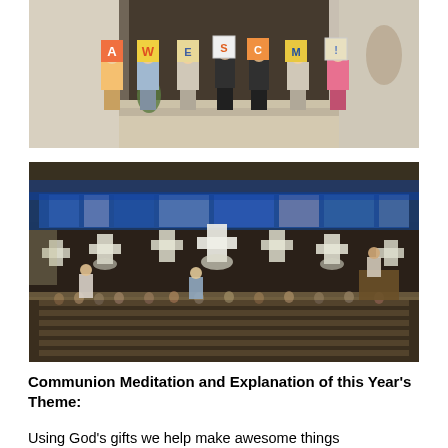[Figure (photo): Group of students standing in a church/auditorium holding up large painted letters spelling 'AWESOME' (or similar). Students are wearing school uniforms. Church interior visible in background with wooden screen and religious statue.]
[Figure (photo): Interior of a large church fully packed with people seated in pews. Stained glass windows glow blue along the upper wall. Cross-shaped light fixtures hang from the ceiling. A speaker stands at the front podium.]
Communion Meditation and Explanation of this Year's Theme:
Using God's gifts we help make awesome things